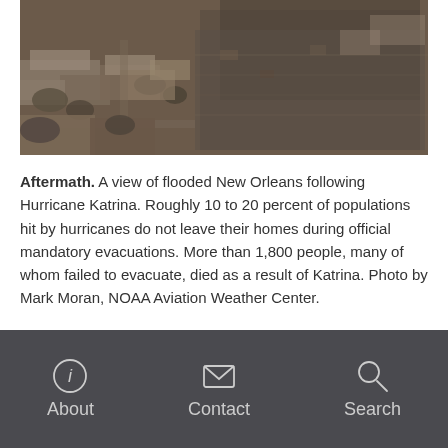[Figure (photo): Aerial black and white photograph of flooded New Orleans following Hurricane Katrina, showing submerged neighborhoods and streets with water covering most of the visible area.]
Aftermath. A view of flooded New Orleans following Hurricane Katrina. Roughly 10 to 20 percent of populations hit by hurricanes do not leave their homes during official mandatory evacuations. More than 1,800 people, many of whom failed to evacuate, died as a result of Katrina. Photo by Mark Moran, NOAA Aviation Weather Center.
About  Contact  Search